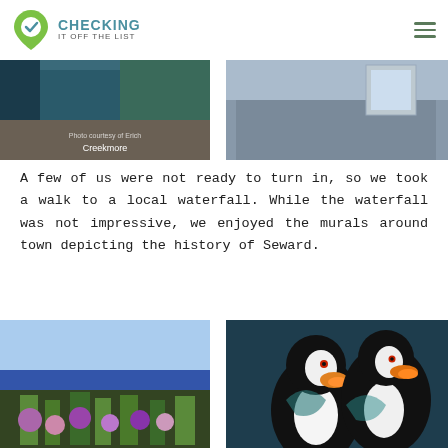CHECKING IT OFF THE LIST
[Figure (photo): Top-left photo showing a teal/dark surface with text overlay 'Photo courtesy of Erich Creekmore']
[Figure (photo): Top-right photo showing exterior of a building with siding and window]
A few of us were not ready to turn in, so we took a walk to a local waterfall. While the waterfall was not impressive, we enjoyed the murals around town depicting the history of Seward.
[Figure (photo): Bottom-left photo showing a colorful floral mural painted on the side of a building with blue roof]
[Figure (photo): Bottom-right photo showing a mural of two tufted puffins painted on a dark teal building exterior]